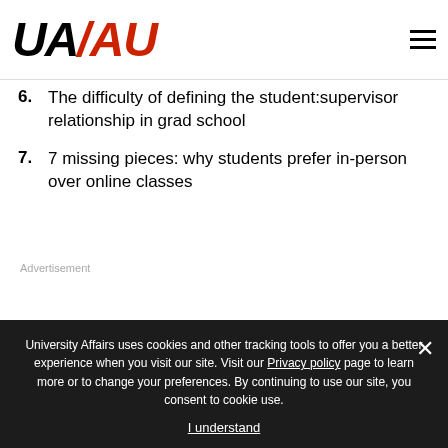[Figure (logo): UA/AU University Affairs logo with black UA and red /AU in bold italic text]
6. The difficulty of defining the student:supervisor relationship in grad school
7. 7 missing pieces: why students prefer in-person over online classes
Advertisement
University Affairs uses cookies and other tracking tools to offer you a better experience when you visit our site. Visit our Privacy policy page to learn more or to change your preferences. By continuing to use our site, you consent to cookie use.
I understand